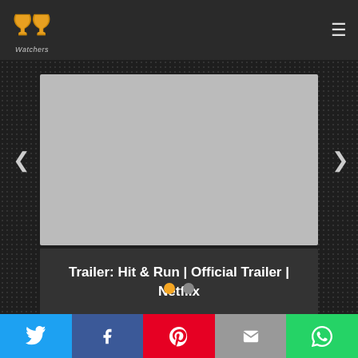[Figure (logo): PP Watchers logo - two stylized flame/trophy shapes in orange/gold with 'Watchers' text below]
[Figure (screenshot): Grey video placeholder thumbnail for a Netflix trailer]
Trailer: Hit & Run | Official Trailer | Netflix
[Figure (infographic): Carousel navigation: left arrow, two indicator dots (orange active, grey inactive), right arrow]
[Figure (infographic): Social share bar with Twitter, Facebook, Pinterest, Email, and WhatsApp buttons]